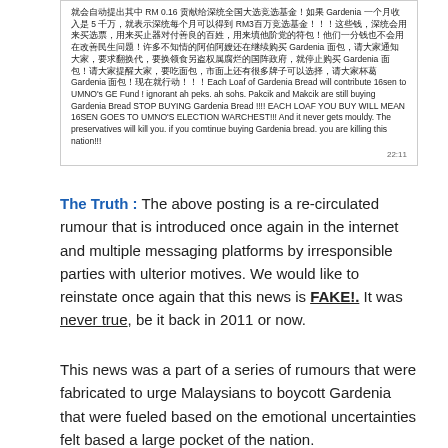[Figure (screenshot): Screenshot of a social media message in Chinese and English urging people to stop buying Gardenia bread, claiming each loaf contributes 16sen to UMNO's GE Fund.]
The Truth : The above posting is a re-circulated rumour that is introduced once again in the internet and multiple messaging platforms by irresponsible parties with ulterior motives. We would like to reinstate once again that this news is FAKE!. It was never true, be it back in 2011 or now.
This news was a part of a series of rumours that were fabricated to urge Malaysians to boycott Gardenia that were fueled based on the emotional uncertainties felt based a large pocket of the nation.